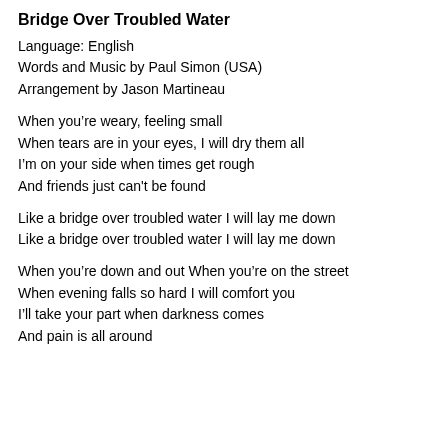Bridge Over Troubled Water
Language: English
Words and Music by Paul Simon (USA)
Arrangement by Jason Martineau
When you’re weary, feeling small
When tears are in your eyes, I will dry them all
I’m on your side when times get rough
And friends just can’t be found
Like a bridge over troubled water I will lay me down
Like a bridge over troubled water I will lay me down
When you’re down and out When you’re on the street
When evening falls so hard I will comfort you
I’ll take your part when darkness comes
And pain is all around